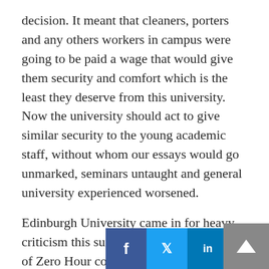decision. It meant that cleaners, porters and any others workers in campus were going to be paid a wage that would give them security and comfort which is the least they deserve from this university. Now the university should act to give similar security to the young academic staff, without whom our essays would go unmarked, seminars untaught and general university experienced worsened.
Edinburgh University came in for heavy criticism this summer for topping the table of Zero Hour contracts and the fact that they so quickly banned them suggests that universities can too show the flexibility that they demand from their employees. Lancaster should follow suit and help some it's 747 staff suffering from economic uncertainty. It's a simple choice between whether the University wan... ...olent employer